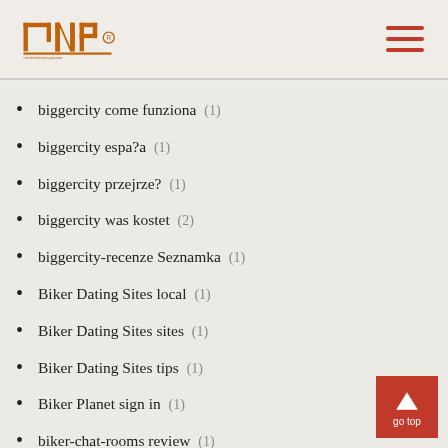INP logo and navigation menu
biggercity come funziona (1)
biggercity espa?a (1)
biggercity przejrze? (1)
biggercity was kostet (2)
biggercity-recenze Seznamka (1)
Biker Dating Sites local (1)
Biker Dating Sites sites (1)
Biker Dating Sites tips (1)
Biker Planet sign in (1)
biker-chat-rooms review (1)
bikerplanet funziona (1)